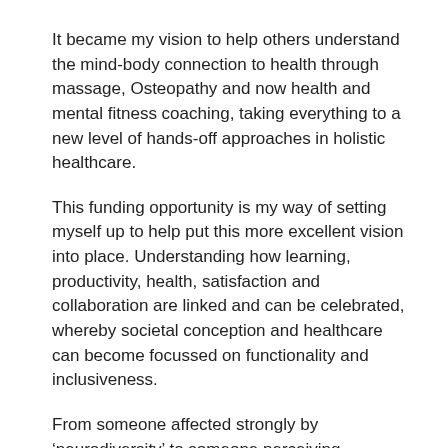It became my vision to help others understand the mind-body connection to health through massage, Osteopathy and now health and mental fitness coaching, taking everything to a new level of hands-off approaches in holistic healthcare.
This funding opportunity is my way of setting myself up to help put this more excellent vision into place. Understanding how learning, productivity, health, satisfaction and collaboration are linked and can be celebrated, whereby societal conception and healthcare can become focussed on functionality and inclusiveness.
From someone affected strongly by ‘neurodiversity’ to someone perceiving themselves as ‘neurotypical,’ I’m sure there is an ability inside us that is fuelled by an incredible power.